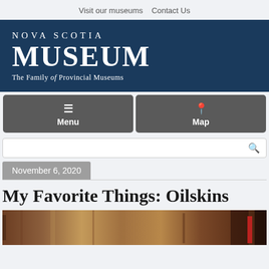Visit our museums   Contact Us
[Figure (logo): Nova Scotia Museum logo — dark blue banner with 'NOVA SCOTIA' in small caps, 'MUSEUM' in large serif, and 'The Family of Provincial Museums' subtitle in white text]
Menu
Map
November 6, 2020
My Favorite Things: Oilskins
[Figure (photo): Partial photo of wooden objects in a museum setting, warm brown tones]